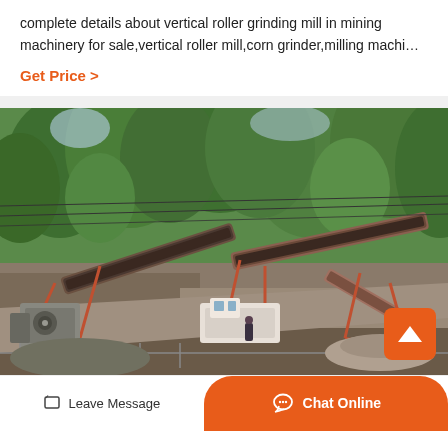complete details about vertical roller grinding mill in mining machinery for sale,vertical roller mill,corn grinder,milling machi…
Get Price  >
[Figure (photo): Outdoor mining/quarry site with heavy industrial conveyor belt equipment and crushing machinery, set against a background of dense tropical vegetation. Multiple conveyor belts and processing units visible on a gravel/dirt surface.]
Leave Message
Chat Online